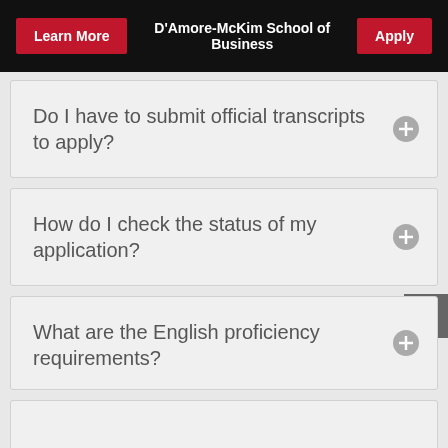Learn More | D'Amore-McKim School of Business | Apply
Do I have to submit official transcripts to apply?
How do I check the status of my application?
What are the English proficiency requirements?